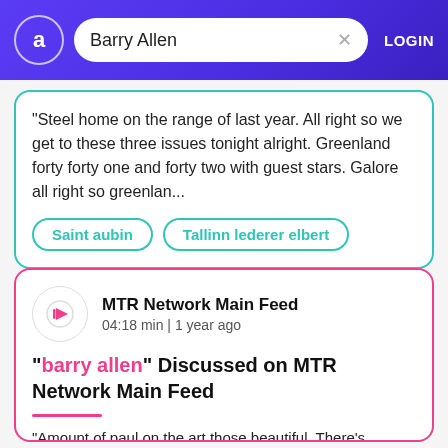Barry Allen — LOGIN
"Steel home on the range of last year. All right so we get to these three issues tonight alright. Greenland forty forty one and forty two with guest stars. Galore all right so greenlan...
Saint aubin
Tallinn lederer elbert
MTR Network Main Feed
04:18 min | 1 year ago
"barry allen" Discussed on MTR Network Main Feed
"Amount of paul on the art those beautiful. There's nothing about the character then now or ever. That tells me he